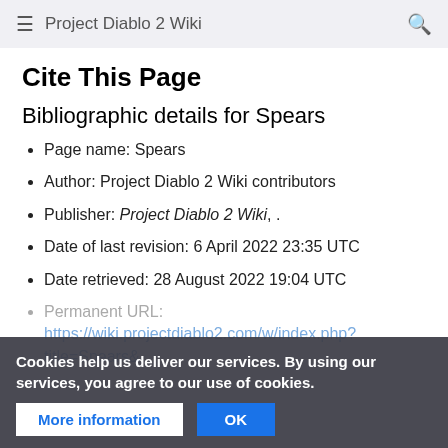Project Diablo 2 Wiki
Cite This Page
Bibliographic details for Spears
Page name: Spears
Author: Project Diablo 2 Wiki contributors
Publisher: Project Diablo 2 Wiki, .
Date of last revision: 6 April 2022 23:35 UTC
Date retrieved: 28 August 2022 19:04 UTC
Permanent URL: https://wiki.projectdiablo2.com/w/index.php?title=Spears...
Cookies help us deliver our services. By using our services, you agree to our use of cookies.